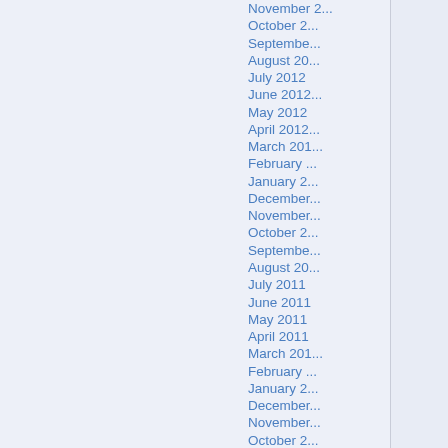November 2...
October 2...
September 20...
August 20...
July 2012
June 2012...
May 2012
April 2012...
March 201...
February ...
January 2...
December...
November...
October 2...
September...
August 20...
July 2011
June 2011
May 2011
April 2011
March 201...
February ...
January 2...
December...
November...
October 2...
September...
August 20...
July 2010
June 2010...
May 2010
April 2010...
March 201...